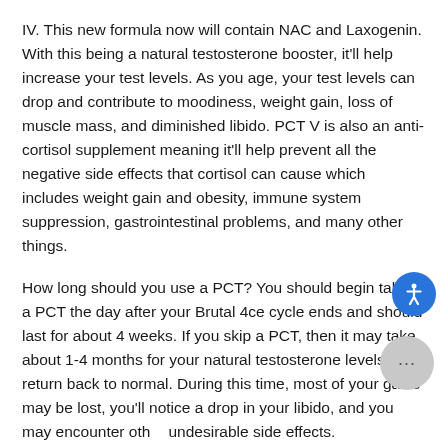IV. This new formula now will contain NAC and Laxogenin. With this being a natural testosterone booster, it'll help increase your test levels. As you age, your test levels can drop and contribute to moodiness, weight gain, loss of muscle mass, and diminished libido. PCT V is also an anti-cortisol supplement meaning it'll help prevent all the negative side effects that cortisol can cause which includes weight gain and obesity, immune system suppression, gastrointestinal problems, and many other things.
How long should you use a PCT? You should begin taking a PCT the day after your Brutal 4ce cycle ends and should last for about 4 weeks. If you skip a PCT, then it may take about 1-4 months for your natural testosterone levels to return back to normal. During this time, most of your gains may be lost, you'll notice a drop in your libido, and you may encounter other undesirable side effects.
STACKS AVAILABLE